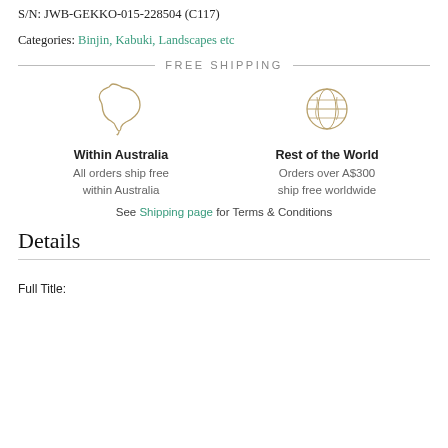S/N: JWB-GEKKO-015-228504 (C117)
Categories: Binjin, Kabuki, Landscapes etc
FREE SHIPPING
[Figure (illustration): Outline icon of Australia map]
Within Australia
All orders ship free within Australia
[Figure (illustration): Outline icon of globe/Earth]
Rest of the World
Orders over A$300 ship free worldwide
See Shipping page for Terms & Conditions
Details
Full Title: